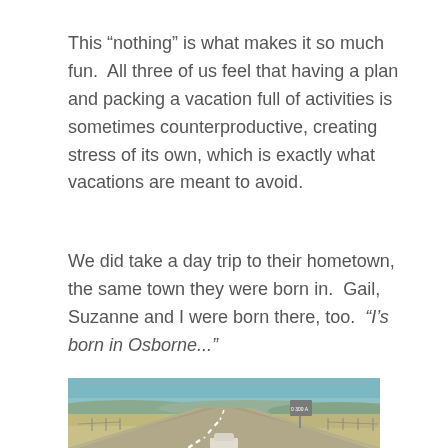This “nothing” is what makes it so much fun.  All three of us feel that having a plan and packing a vacation full of activities is sometimes counterproductive, creating stress of its own, which is exactly what vacations are meant to avoid.
We did take a day trip to their hometown, the same town they were born in.  Gail, Suzanne and I were born there, too.  “I’s born in Osborne...”
[Figure (photo): A road stretching into the distance through flat Kansas-like terrain with a car visible in the foreground, rolling hills in the background, and a highway sign on the right side of the road.]